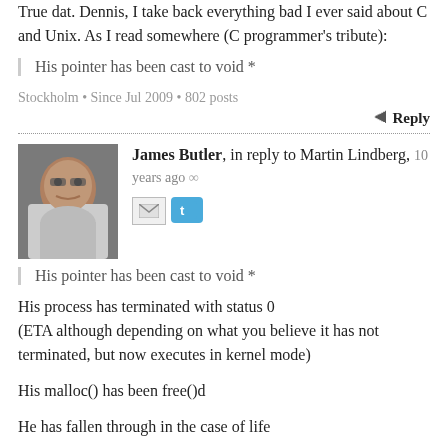True dat. Dennis, I take back everything bad I ever said about C and Unix. As I read somewhere (C programmer's tribute):
His pointer has been cast to void *
Stockholm • Since Jul 2009 • 802 posts
Reply
James Butler, in reply to Martin Lindberg, 10 years ago ∞
His pointer has been cast to void *
His process has terminated with status 0 (ETA although depending on what you believe it has not terminated, but now executes in kernel mode)
His malloc() has been free()d
He has fallen through in the case of life
His index is out of bounds
He has longjmp()d from this stack frame